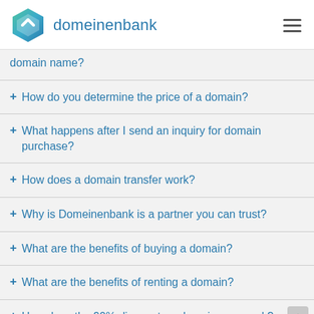domeinenbank
domain name?
+ How do you determine the price of a domain?
+ What happens after I send an inquiry for domain purchase?
+ How does a domain transfer work?
+ Why is Domeinenbank is a partner you can trust?
+ What are the benefits of buying a domain?
+ What are the benefits of renting a domain?
+ How does the 90% discount on domain re... work?